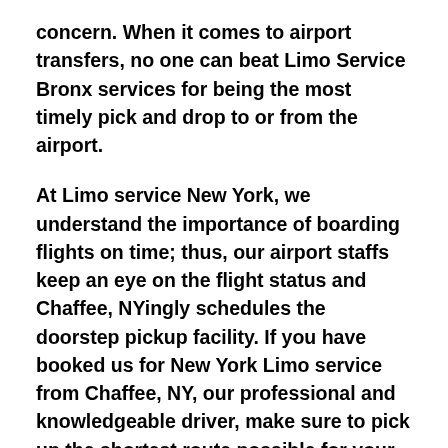concern. When it comes to airport transfers, no one can beat Limo Service Bronx services for being the most timely pick and drop to or from the airport.
At Limo service New York, we understand the importance of boarding flights on time; thus, our airport staffs keep an eye on the flight status and Chaffee, NYingly schedules the doorstep pickup facility. If you have booked us for New York Limo service from Chaffee, NY, our professional and knowledgeable driver, make sure to pick up the shortest route possible for your convenient and timely transit.
The highly skilled and talented chauffeur of Luxury Limo service New York City makes the place of the